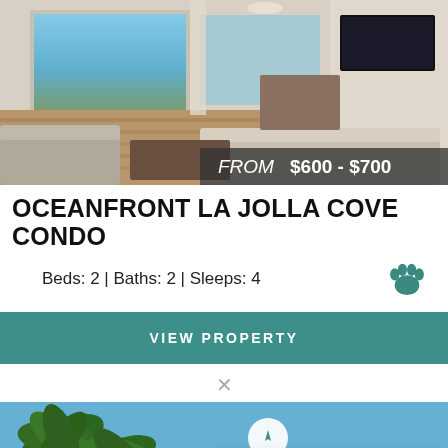[Figure (photo): Interior photo of oceanfront condo living room with hardwood floors, large windows showing ocean view, sofas, TV, and dining area. Price overlay reads FROM $600 - $700.]
OCEANFRONT LA JOLLA COVE CONDO
Beds: 2 | Baths: 2 | Sleeps: 4
VIEW PROPERTY
[Figure (photo): Exterior/outdoor photo showing palm trees against a blue sky. A navigation/compass button overlay is visible. A chat popup reads 'Chat now' with a chat icon.]